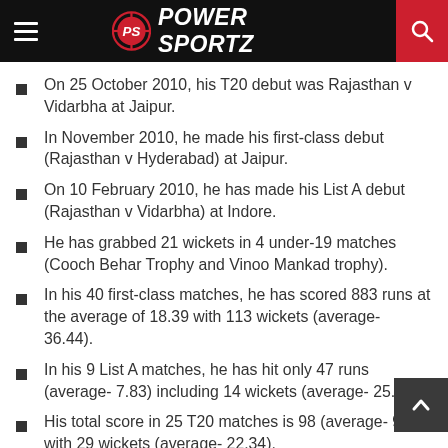PS POWER SPORTZ
On 25 October 2010, his T20 debut was Rajasthan v Vidarbha at Jaipur.
In November 2010, he made his first-class debut (Rajasthan v Hyderabad) at Jaipur.
On 10 February 2010, he has made his List A debut (Rajasthan v Vidarbha) at Indore.
He has grabbed 21 wickets in 4 under-19 matches (Cooch Behar Trophy and Vinoo Mankad trophy).
In his 40 first-class matches, he has scored 883 runs at the average of 18.39 with 113 wickets (average- 36.44).
In his 9 List A matches, he has hit only 47 runs (average- 7.83) including 14 wickets (average- 25.49)
His total score in 25 T20 matches is 98 (average- 9.80) with 29 wickets (average- 22.34).
He got 5 wickets for 15 runs in the Syed Mushtaq Ali